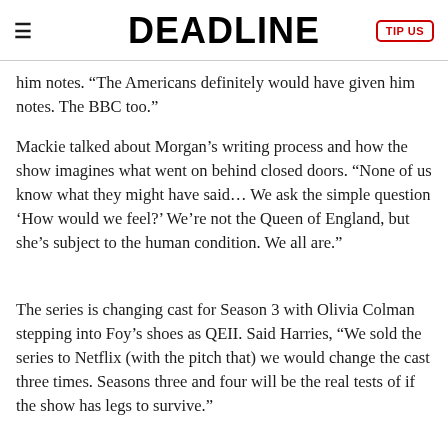DEADLINE
him notes. “The Americans definitely would have given him notes. The BBC too.”
Mackie talked about Morgan’s writing process and how the show imagines what went on behind closed doors. “None of us know what they might have said… We ask the simple question ‘How would we feel?’ We’re not the Queen of England, but she’s subject to the human condition. We all are.”
The series is changing cast for Season 3 with Olivia Colman stepping into Foy’s shoes as QEII. Said Harries, “We sold the series to Netflix (with the pitch that) we would change the cast three times. Seasons three and four will be the real tests of if the show has legs to survive.”